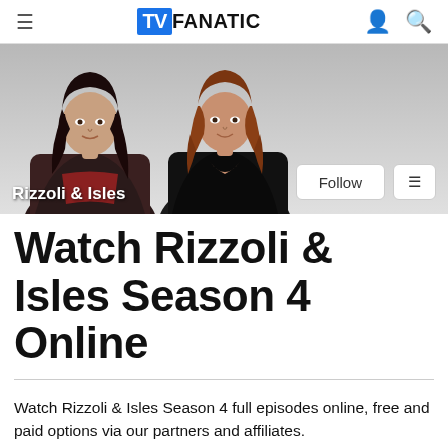TV FANATIC
[Figure (photo): Two women (cast of Rizzoli & Isles) posed against white background. Left woman has dark hair, wearing dark jacket over red top. Right woman has auburn hair, wearing black top. Text overlay reads 'Rizzoli & Isles'. Follow and menu buttons on the right.]
Watch Rizzoli & Isles Season 4 Online
Watch Rizzoli & Isles Season 4 full episodes online, free and paid options via our partners and affiliates.